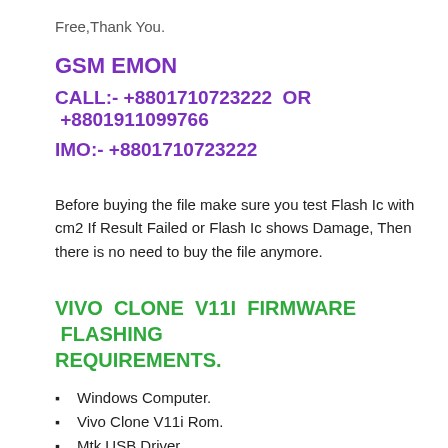Free,Thank You.
GSM EMON
CALL:- +8801710723222  OR  +8801911099766
IMO:- +8801710723222
Before buying the file make sure you test Flash Ic with cm2 If Result Failed or Flash Ic shows Damage, Then there is no need to buy the file anymore.
VIVO CLONE V11I FIRMWARE FLASHING REQUIREMENTS.
Windows Computer.
Vivo Clone V11i Rom.
Mtk USB Driver.